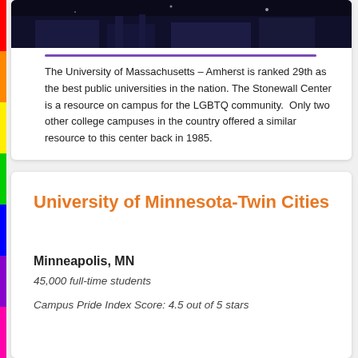[Figure (photo): Dark nighttime campus photo at University of Massachusetts Amherst]
The University of Massachusetts – Amherst is ranked 29th as the best public universities in the nation. The Stonewall Center is a resource on campus for the LGBTQ community.  Only two other college campuses in the country offered a similar resource to this center back in 1985.
University of Minnesota-Twin Cities
Minneapolis, MN
45,000 full-time students
Campus Pride Index Score: 4.5 out of 5 stars